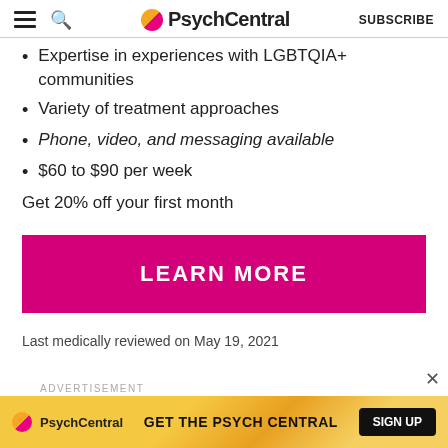PsychCentral SUBSCRIBE
Expertise in experiences with LGBTQIA+ communities
Variety of treatment approaches
Phone, video, and messaging available
$60 to $90 per week
Get 20% off your first month
LEARN MORE
Last medically reviewed on May 19, 2021
ADVERTISEMENT
[Figure (screenshot): PsychCentral advertisement banner with logo, text GET THE PSYCH CENTRAL, and SIGN UP button]